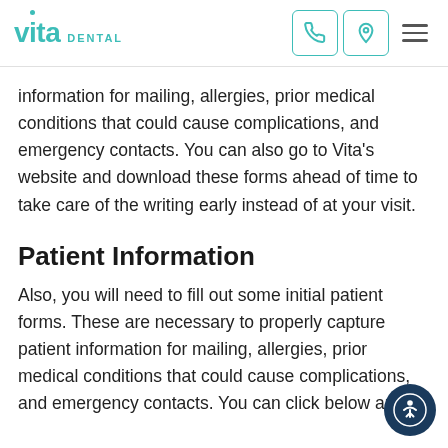vita DENTAL
information for mailing, allergies, prior medical conditions that could cause complications, and emergency contacts. You can also go to Vita's website and download these forms ahead of time to take care of the writing early instead of at your visit.
Patient Information
Also, you will need to fill out some initial patient forms. These are necessary to properly capture patient information for mailing, allergies, prior medical conditions that could cause complications, and emergency contacts. You can click below and